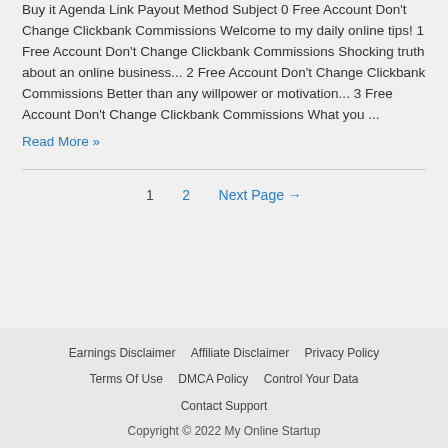Buy it Agenda Link Payout Method Subject 0 Free Account Don't Change Clickbank Commissions Welcome to my daily online tips! 1 Free Account Don't Change Clickbank Commissions Shocking truth about an online business... 2 Free Account Don't Change Clickbank Commissions Better than any willpower or motivation... 3 Free Account Don't Change Clickbank Commissions What you ...
Read More »
1  2  Next Page →
Earnings Disclaimer  Affiliate Disclaimer  Privacy Policy  Terms Of Use  DMCA Policy  Control Your Data  Contact Support  Copyright © 2022 My Online Startup